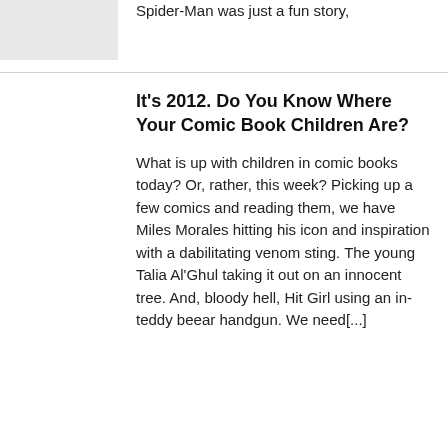Spider-Man was just a fun story,
It's 2012. Do You Know Where Your Comic Book Children Are?
What is up with children in comic books today? Or, rather, this week? Picking up a few comics and reading them, we have Miles Morales hitting his icon and inspiration with a dabilitating venom sting. The young Talia Al'Ghul taking it out on an innocent tree. And, bloody hell, Hit Girl using an in-teddy beear handgun. We need[...]